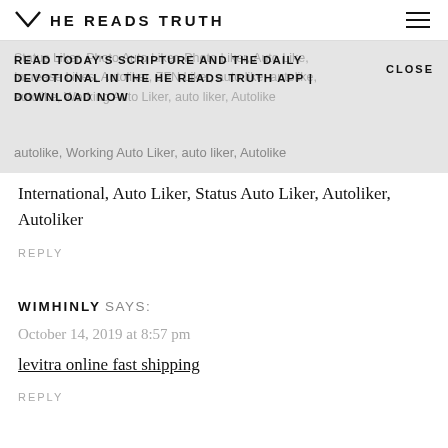HE READS TRUTH
Status Liker, Photo Auto Liker, Photo Liker, Auto Like, Increase Likes, Autoliker, ZFN Liker, auto like, autolike, autolike, Working Auto Liker, auto liker, Autolike International, Auto Liker, Status Auto Liker, Autoliker, Autoliker
READ TODAY'S SCRIPTURE AND THE DAILY DEVOTIONAL IN THE HE READS TRUTH APP | DOWNLOAD NOW
CLOSE
International, Auto Liker, Status Auto Liker, Autoliker, Autoliker
REPLY
WIMHINLY SAYS:
October 14, 2019 at 8:57 pm
levitra online fast shipping
REPLY